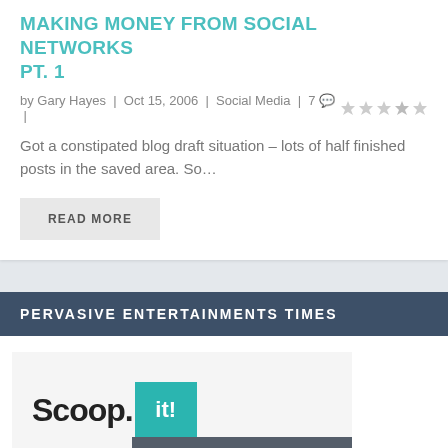MAKING MONEY FROM SOCIAL NETWORKS PT. 1
by Gary Hayes | Oct 15, 2006 | Social Media | 7 💬 | ★★★★★
Got a constipated blog draft situation – lots of half finished posts in the saved area. So…
READ MORE
PERVASIVE ENTERTAINMENTS TIMES
[Figure (screenshot): Scoop.it logo with teal 'it!' box on grey background, with an 'Account Suspended!' dark banner overlay in the bottom right]